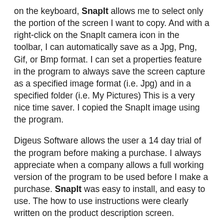on the keyboard, SnapIt allows me to select only the portion of the screen I want to copy. And with a right-click on the SnapIt camera icon in the toolbar, I can automatically save as a Jpg, Png, Gif, or Bmp format. I can set a properties feature in the program to always save the screen capture as a specified image format (i.e. Jpg) and in a specified folder (i.e. My Pictures) This is a very nice time saver. I copied the SnapIt image using the program.
Digeus Software allows the user a 14 day trial of the program before making a purchase. I always appreciate when a company allows a full working version of the program to be used before I make a purchase. SnapIt was easy to install, and easy to use. The how to use instructions were clearly written on the product description screen.
If you do a lot of screen capturing, I'd highly recommend this program. The program has been marked down from $25.00 to $17.99. The price includes a lifetime license, lifetime technical support and free upgrades. That's a real bargain.
In exchange for my review, Digeus has given me a free copy